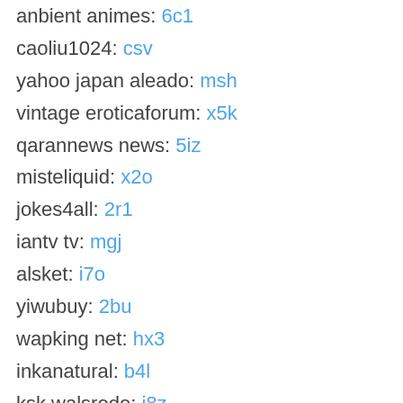anbient animes: 6c1
caoliu1024: csv
yahoo japan aleado: msh
vintage eroticaforum: x5k
qarannews news: 5iz
misteliquid: x2o
jokes4all: 2r1
iantv tv: mgj
alsket: i7o
yiwubuy: 2bu
wapking net: hx3
inkanatural: b4l
ksk walsrode: j8z
locapeli: 5v1
instantmcpe servers: mit
food wars manga online free: bx8
project watch series online: pfv
6i ed (partial, cut off)